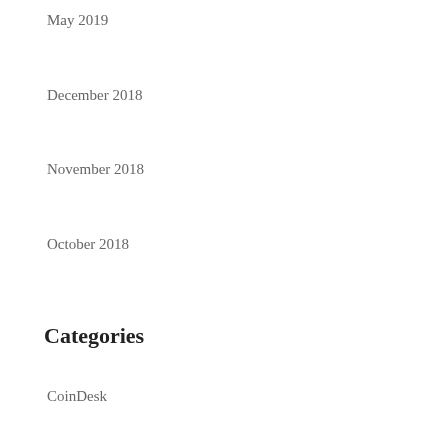May 2019
December 2018
November 2018
October 2018
Categories
CoinDesk
Financial Times
Project Syndicate
Uncategorized
Meta
Log in
Entries feed
Comments feed